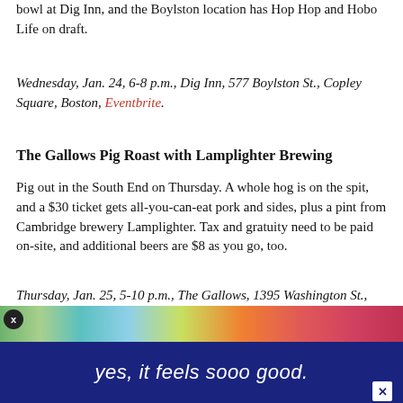bowl at Dig Inn, and the Boylston location has Hop Hop and Hobo Life on draft.
Wednesday, Jan. 24, 6-8 p.m., Dig Inn, 577 Boylston St., Copley Square, Boston, Eventbrite.
The Gallows Pig Roast with Lamplighter Brewing
Pig out in the South End on Thursday. A whole hog is on the spit, and a $30 ticket gets all-you-can-eat pork and sides, plus a pint from Cambridge brewery Lamplighter. Tax and gratuity need to be paid on-site, and additional beers are $8 as you go, too.
Thursday, Jan. 25, 5-10 p.m., The Gallows, 1395 Washington St., Boston, 617-425-0200, thegallowsboston.com, Eventbrite.
[Figure (photo): Advertisement banner with colorful top strip and dark blue background reading 'yes, it feels sooo good.']